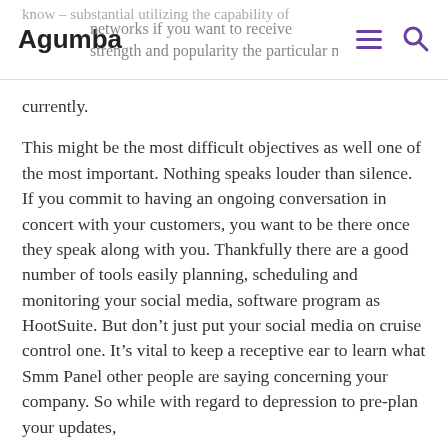Agumba | know – substantial utilizing the capability of networks if you want to receive strength and popularity the particular market currently.
currently.
This might be the most difficult objectives as well one of the most important. Nothing speaks louder than silence. If you commit to having an ongoing conversation in concert with your customers, you want to be there once they speak along with you. Thankfully there are a good number of tools easily planning, scheduling and monitoring your social media, software program as HootSuite. But don't just put your social media on cruise control one. It's vital to keep a receptive ear to learn what Smm Panel other people are saying concerning your company. So while with regard to depression to pre-plan your updates, but anticipate to monitor, questions and